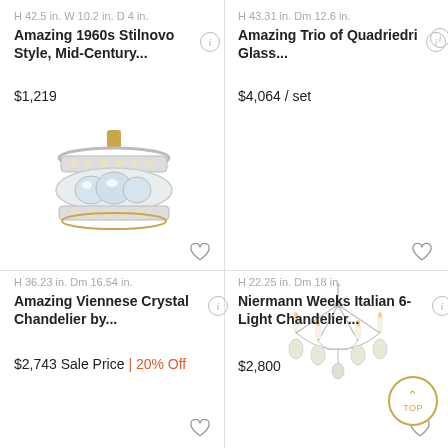H 42.5 in. W 10.2 in. D 4 in.
Amazing 1960s Stilnovo Style, Mid-Century...
$1,219
[Figure (photo): Crystal flush-mount ceiling light fixture with layered gem-cut crystal rings and gold accents]
H 43.31 in. Dm 12.6 in.
Amazing Trio of Quadriedri Glass...
$4,064 / set
H 36.23 in. Dm 16.54 in.
Amazing Viennese Crystal Chandelier by...
$2,743 Sale Price | 20% Off
H 22.25 in. Dm 18 in.
Niermann Weeks Italian 6-Light Chandelier...
$2,800
[Figure (photo): Elegant multi-arm chandelier with crystal drops and candle-style lights in a wire frame design]